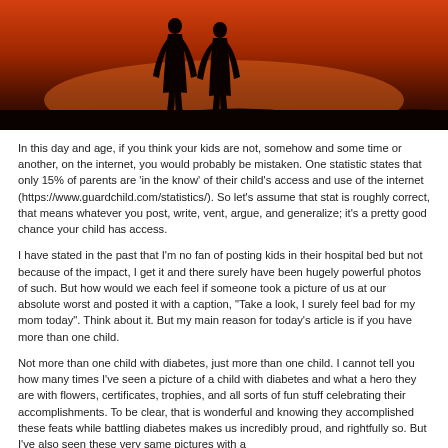[Figure (photo): Silhouette of two people (adults or parent and child) standing against a vivid orange-red sunset sky background]
In this day and age, if you think your kids are not, somehow and some time or another, on the internet, you would probably be mistaken.  One statistic states that only 15% of parents are 'in the know' of their child's access and use of the internet (https://www.guardchild.com/statistics/).  So let's assume that stat is roughly correct, that means whatever you post, write, vent, argue, and generalize; it's a pretty good chance your child has access.
I have stated in the past that I'm no fan of posting kids in their hospital bed but not because of the impact, I get it and there surely have been hugely powerful photos of such.  But how would we each feel if someone took a picture of us at our absolute worst and posted it with a caption, "Take a look, I surely feel bad for my mom today".  Think about it.  But my main reason for today's article is if you have more than one child.
Not more than one child with diabetes, just more than one child. I cannot tell you how many times I've seen a picture of a child with diabetes and what a hero they are with flowers, certificates, trophies, and all sorts of fun stuff celebrating their accomplishments.  To be clear, that is wonderful and knowing they accomplished these feats while battling diabetes makes us incredibly proud, and rightfully so.  But I've also seen these very same pictures with a